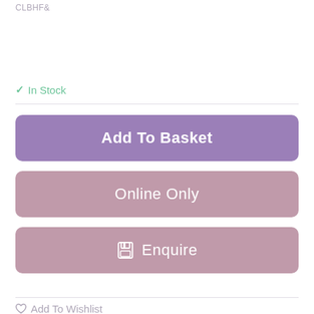CLBHF&
✓ In Stock
Add To Basket
Online Only
Enquire
Add To Wishlist